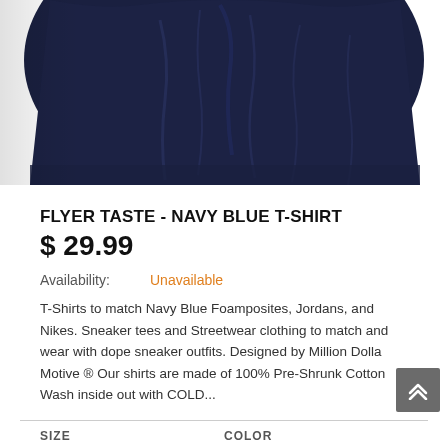[Figure (photo): Partial view of a navy blue t-shirt fabric, cropped showing just the lower portion of the shirt against a white background]
FLYER TASTE - NAVY BLUE T-SHIRT
$ 29.99
Availability:   Unavailable
T-Shirts to match Navy Blue Foamposites, Jordans, and Nikes. Sneaker tees and Streetwear clothing to match and wear with dope sneaker outfits. Designed by Million Dolla Motive ® Our shirts are made of 100% Pre-Shrunk Cotton Wash inside out with COLD...
SIZE   COLOR